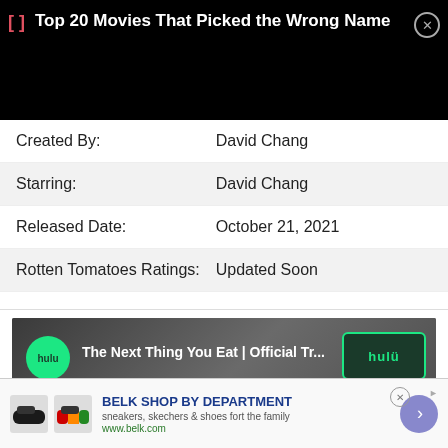[Figure (screenshot): Black ad banner at top with red bracket icon and white text 'Top 20 Movies That Picked the Wrong Name' with close button]
| Created By: | David Chang |
| Starring: | David Chang |
| Released Date: | October 21, 2021 |
| Rotten Tomatoes Ratings: | Updated Soon |
[Figure (screenshot): Hulu video thumbnail showing 'The Next Thing You Eat | Official Tr...' with Hulu branding and a person's face]
[Figure (screenshot): Belk Shop By Department advertisement with shoe images, text 'sneakers, skechers & shoes fort the family', 'www.belk.com', and a blue arrow button]